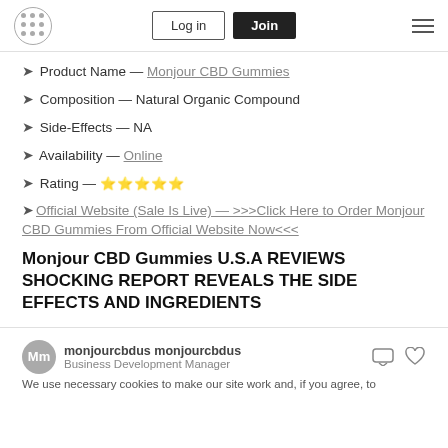Logo | Log in | Join | Menu
➤ Product Name — Monjour CBD Gummies
➤ Composition — Natural Organic Compound
➤ Side-Effects — NA
➤ Availability — Online
➤ Rating — ⭐⭐⭐⭐⭐
➤ Official Website (Sale Is Live) — >>>Click Here to Order Monjour CBD Gummies From Official Website Now<<<
Monjour CBD Gummies U.S.A REVIEWS SHOCKING REPORT REVEALS THE SIDE EFFECTS AND INGREDIENTS
monjourcbdus monjourcbdus
Business Development Manager
We use necessary cookies to make our site work and, if you agree, to